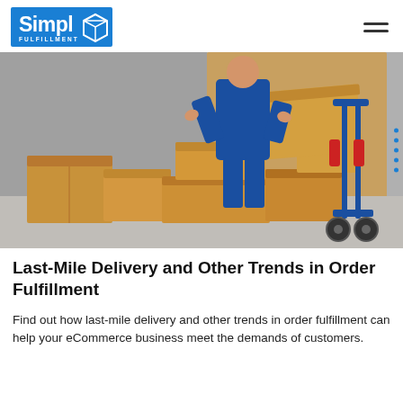Simpl FULFILLMENT
[Figure (photo): A delivery worker in a blue uniform unloading multiple cardboard boxes from a delivery van, with a blue hand truck/dolly visible on the right side.]
Last-Mile Delivery and Other Trends in Order Fulfillment
Find out how last-mile delivery and other trends in order fulfillment can help your eCommerce business meet the demands of customers.